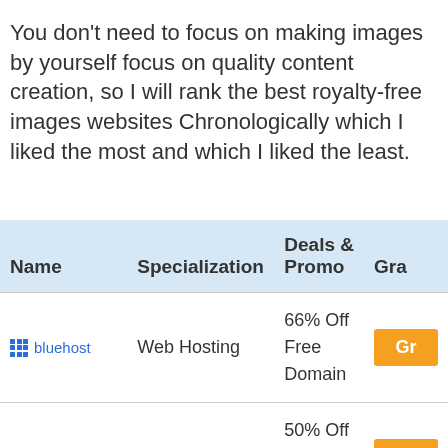You don't need to focus on making images by yourself focus on quality content creation, so I will rank the best royalty-free images websites Chronologically which I liked the most and which I liked the least.
| Name | Specialization | Deals & Promo | Gra… |
| --- | --- | --- | --- |
| bluehost | Web Hosting | 66% Off
Free Domain | Gr… |
| HostGator | Web Hosting | 50% Off
Free Domain | Gr… |
| SiteGround | Web Hosting | 60% Off
Free Daily | Gr… |